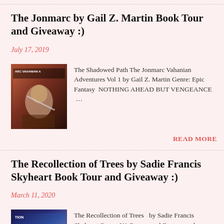The Jonmarc by Gail Z. Martin Book Tour and Giveaway :)
July 17, 2019
[Figure (illustration): Book cover image for The Jonmarc Vahanian Adventures featuring a man with dark hair in armor]
The Shadowed Path The Jonmarc Vahanian Adventures Vol 1 by Gail Z. Martin Genre: Epic Fantasy  NOTHING AHEAD BUT VENGEANCE …
READ MORE
The Recollection of Trees by Sadie Francis Skyheart Book Tour and Giveaway :)
March 11, 2020
[Figure (illustration): Book cover image for The Recollection of Trees showing a blue-toned fantasy scene]
The Recollection of Trees  by Sadie Francis Skyheart Genre: YA Paranormal Fantasy and…